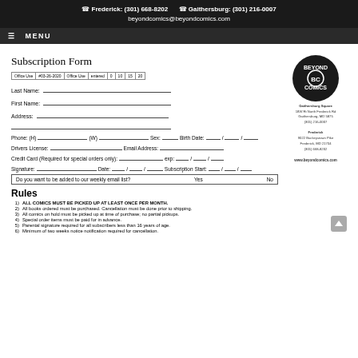Frederick: (301) 668-8202   Gaithersburg: (301) 216-0007   beyondcomics@beyondcomics.com
≡ MENU
Subscription Form
[Figure (logo): Beyond Comics circular logo in black and white]
Gaithersburg Square
18W Rt North Frederick Rd
Gaithersburg, MD 5875
(301) 216-0007
Frederick
9022 Buckeystown Pike
Frederick, MD 21704
(301) 668-8202
www.beyondcomics.com
| Office Use | #03-26-2020 | Office Use | entered | 0 | 10 | 15 | 20 |
| --- | --- | --- | --- | --- | --- | --- | --- |
Last Name:
First Name:
Address:
Phone: (H)   (W)   Sex:   Birth Date:  /  /
Drivers License:   Email Address:
Credit Card (Required for special orders only):   exp:  /  /
Signature:   Date:  /  /   Subscription Start:  /  /
Do you want to be added to our weekly email list?   Yes   No
Rules
ALL COMICS MUST BE PICKED UP AT LEAST ONCE PER MONTH.
All books ordered must be purchased. Cancellation must be done prior to shipping.
All comics on hold must be picked up at time of purchase; no partial pickups.
Special order items must be paid for in advance.
Parental signature required for all subscribers less than 16 years of age.
Minimum of two weeks notice notification required for cancellation.